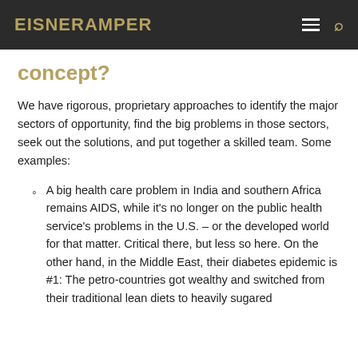EisnerAmper
concept?
We have rigorous, proprietary approaches to identify the major sectors of opportunity, find the big problems in those sectors, seek out the solutions, and put together a skilled team. Some examples:
A big health care problem in India and southern Africa remains AIDS, while it’s no longer on the public health service’s problems in the U.S. – or the developed world for that matter. Critical there, but less so here. On the other hand, in the Middle East, their diabetes epidemic is #1: The petro-countries got wealthy and switched from their traditional lean diets to heavily sugared